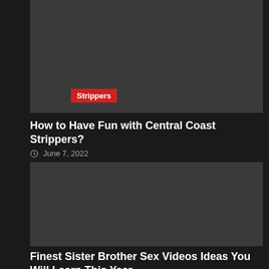[Figure (photo): Dark gray placeholder image with a red 'Strippers' tag label at bottom left]
How to Have Fun with Central Coast Strippers?
June 7, 2022
[Figure (photo): Dark gray placeholder image with a red 'sex' tag label at bottom left and a red scroll-to-top arrow button at bottom right]
Finest Sister Brother Sex Videos Ideas You Will Learn This Year